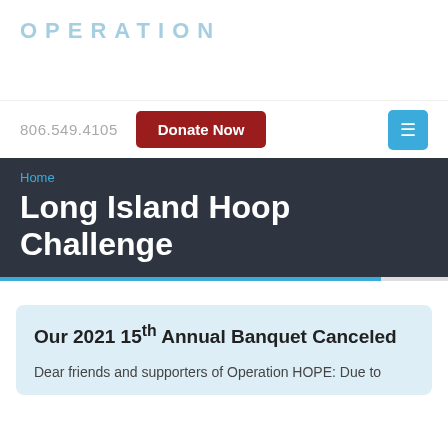OPERATION
806.549.4105
Donate Now
Home
Long Island Hoop Challenge
Our 2021 15th Annual Banquet Canceled
Dear friends and supporters of Operation HOPE: Due to